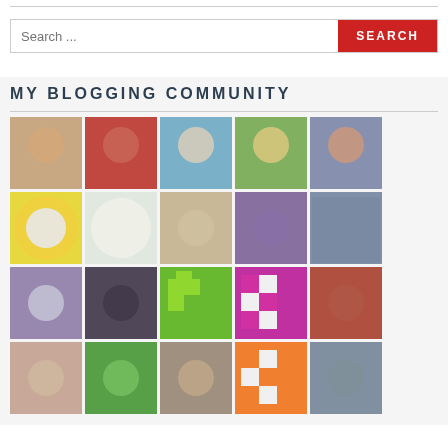Search ...
[Figure (screenshot): Search bar with red SEARCH button]
MY BLOGGING COMMUNITY
[Figure (photo): Grid of blogger community profile photos, 5 columns by multiple rows showing various people's avatars and icons]